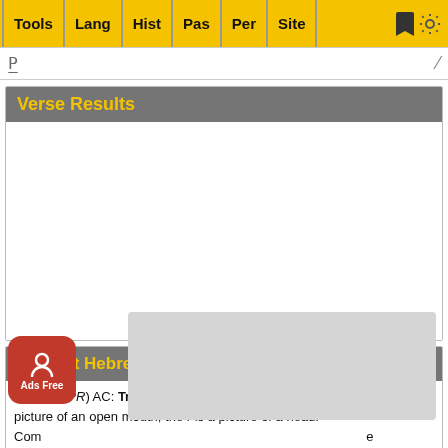Tools | Lang | Hist | Pas | Per | Site
Verse Results
Ancient Hebrew Lexicon Definitions
8) rp (פר PR) AC: Tread CO: Bull AB: Fruitful: The pictograph p is a picture of an open mouth, the r is a picture of a head. Com... e scatt... ace. An o... m to